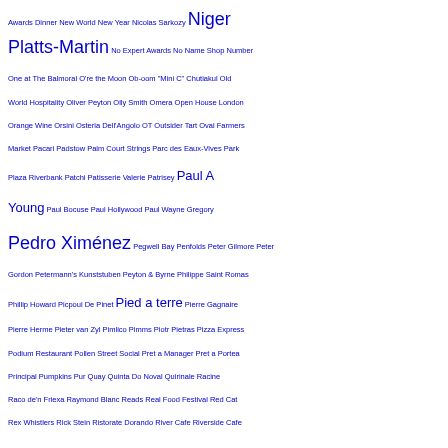Awards Dinner New World New Year Nicolas Sarkozy Niger Platts-Martin No Expert Awards No Name Shop Number One at The Balmoral O're the Moon Ob-oom "Mini C" Chutiakul Old World Hospitality Oliver Peyton Olly Smith Omera Open House London Orange Wine Orsini Osteria Dell'Angolo OT Outsider Tart Oval Farmers Market Pacari Padstow Palm Court Strings Parc des Eaux-Vives Park Plaza Riverbank Patchi Patisserie Valerie Patrisey Paul A Young Paul Bocuse Paul Hollywood Paul Wayne Gregory Pedro Ximénez Pegwell Bay Penfolds Peter Gilmore Peter Gordon Petermann's Kunststuben Peyton & Byrne Philippe Saint Romas Phillip Howard Picpoul De Pinet Pied a terre Pierre Gagnaire Pierre Herme Pieter van Zyl Pimlico Pimms Piotr Pietras Pizza Express Podium Restaurant Pollen Street Social Pret a Manager Pret a Portea Principal Pumpkins Pur Quay Quinta Do Noval Quirinale Racine Raco de'n Friexa Raymond Blanc Reads Real Food Festival Red Cat Rex Whistlers Rick Stein Ristorate Dorando River Cafe Riverside Cafe